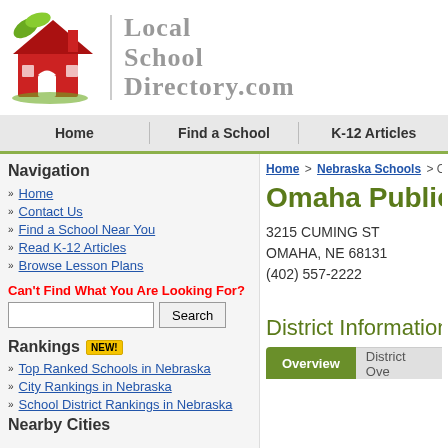[Figure (logo): Local School Directory.com logo with red house and green leaves]
Local School Directory.com
Home | Find a School | K-12 Articles
Navigation
Home
Contact Us
Find a School Near You
Read K-12 Articles
Browse Lesson Plans
Can't Find What You Are Looking For?
Rankings NEW!
Top Ranked Schools in Nebraska
City Rankings in Nebraska
School District Rankings in Nebraska
Nearby Cities
Home > Nebraska Schools > Om
Omaha Public
3215 CUMING ST
OMAHA, NE 68131
(402) 557-2222
District Information
Overview | District Ove